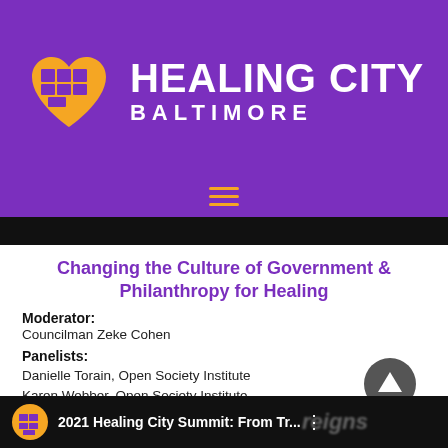[Figure (logo): Healing City Baltimore logo with golden heart icon and white text on purple background, with hamburger menu icon in gold]
Changing the Culture of Government & Philanthropy for Healing
Moderator: Councilman Zeke Cohen
Panelists: Danielle Torain, Open Society Institute
Karen Webber, Open Society Institute
Julia Baez, Baltimore's Promise
[Figure (screenshot): 2021 Healing City Summit: From Tr... video thumbnail with logo and text overlay]